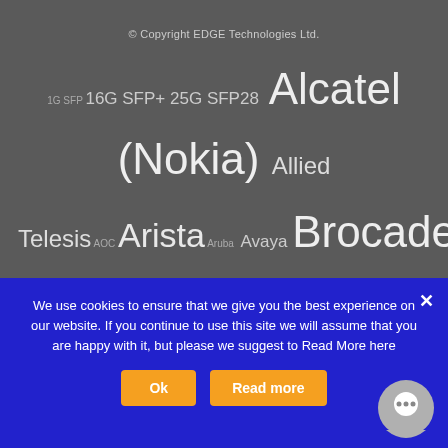© Copyright EDGE Technologies Ltd.
[Figure (infographic): Tag cloud of network/technology brand names in various font sizes on dark gray background: 1G SFP, 16G SFP+, 25G, SFP28, Alcatel (Nokia), Allied Telesis, AOC, Arista, Aruba, Avaya, Brocade, Ciena, Cisco, Compatible NIC, D-link, Dell (Force10), DWDM, eCPRI, Enterasys, Ericsson, Extreme, F5 Networks, Finisar, Fortinet, HP, Huawei, IBM, Intel, Juniper]
We use cookies to ensure that we give you the best experience on our website. If you continue to use this site we will assume that you are happy with it, but please we suggest to Read More here